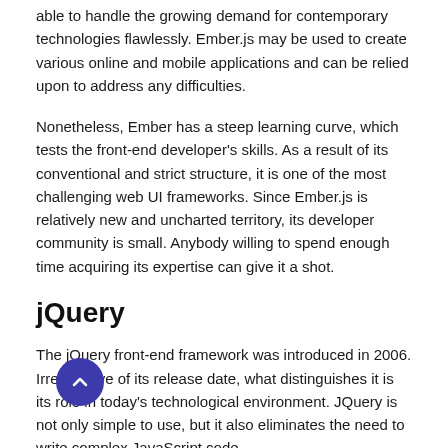able to handle the growing demand for contemporary technologies flawlessly. Ember.js may be used to create various online and mobile applications and can be relied upon to address any difficulties.
Nonetheless, Ember has a steep learning curve, which tests the front-end developer's skills. As a result of its conventional and strict structure, it is one of the most challenging web UI frameworks. Since Ember.js is relatively new and uncharted territory, its developer community is small. Anybody willing to spend enough time acquiring its expertise can give it a shot.
jQuery
The jQuery front-end framework was introduced in 2006. Irrespective of its release date, what distinguishes it is its role in today's technological environment. JQuery is not only simple to use, but it also eliminates the need to write complex JavaScript code.
jQuery is mostly used to manipulate DOM and CSS, enhance a website's usability, and enhance interaction. Recent improvements